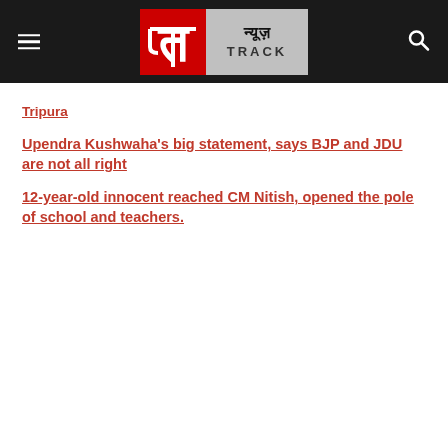[Figure (logo): News Track logo with red square containing stylized 'T' and grey rectangle with Hindi text न्यूज़ TRACK]
Tripura
Upendra Kushwaha's big statement, says BJP and JDU are not all right
12-year-old innocent reached CM Nitish, opened the pole of school and teachers.